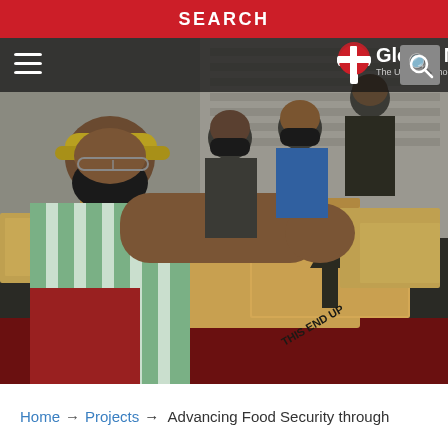SEARCH
[Figure (photo): Volunteers wearing face masks unloading cardboard boxes labeled 'THIS END UP' from a vehicle, food distribution scene outdoors near a brick building. Global Ministries / The United Methodist Church navigation bar overlay at top.]
Home → Projects → Advancing Food Security through